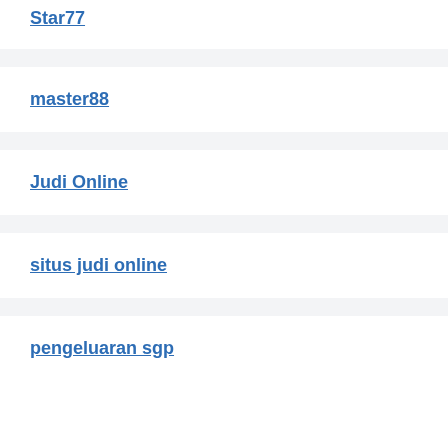Star77
master88
Judi Online
situs judi online
pengeluaran sgp